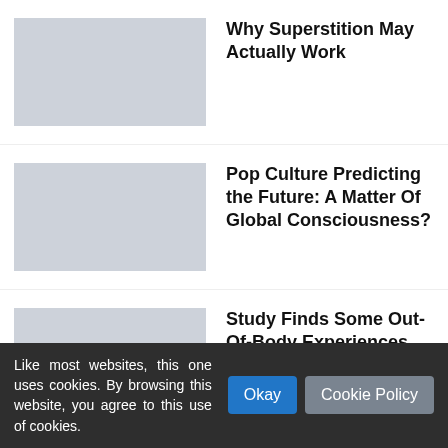Why Superstition May Actually Work
[Figure (photo): Placeholder thumbnail image for article 1]
Pop Culture Predicting the Future: A Matter Of Global Consciousness?
[Figure (photo): Placeholder thumbnail image for article 2]
Study Finds Some Out-Of-Body Experiences Linked To Ear Problems
[Figure (photo): Placeholder thumbnail image for article 3]
Tags
Paranormal Studies
Paranormal Abilities
Like most websites, this one uses cookies. By browsing this website, you agree to this use of cookies.
Okay
Cookie Policy